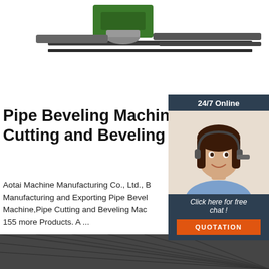[Figure (photo): Top portion of a pipe beveling/cutting machine on a white background, showing metallic green and grey components on rails.]
Pipe Beveling Machine,Pipe Cutting and Beveling ... - A
Aotai Machine Manufacturing Co., Ltd., B Manufacturing and Exporting Pipe Bevel Machine,Pipe Cutting and Beveling Mac 155 more Products. A ...
[Figure (photo): Customer service agent (woman with headset smiling) with 24/7 Online label, click here for free chat text, and QUOTATION button overlay widget.]
[Figure (photo): Bottom partial image showing an industrial or construction overhead structure.]